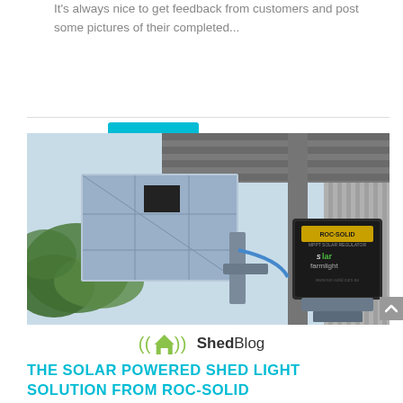It's always nice to get feedback from customers and post some pictures of their completed...
READ MORE
[Figure (photo): Photo of a solar panel and ROC-SOLID MPPT solar regulator mounted on a metal frame under a shed roof, with palm trees visible in the background.]
ShedBlog
THE SOLAR POWERED SHED LIGHT SOLUTION FROM ROC-SOLID